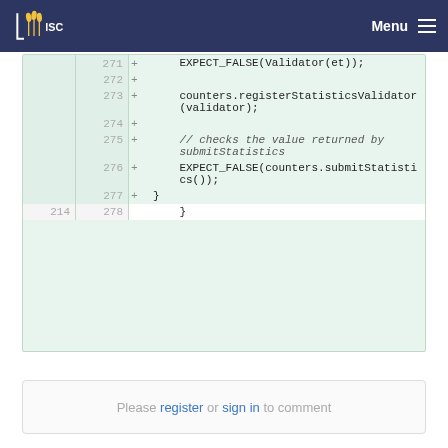ISC Menu
[Figure (screenshot): Code diff view showing lines 271-278. Lines 271-277 are additions (+). Line 271: EXPECT_FALSE(Validator(et));. Line 272: empty. Line 273: empty + counters.registerStatisticsValidator(validator);. Line 274: empty. Line 275: // checks the value returned by submitStatistics. Line 276: empty + EXPECT_FALSE(counters.submitStatistics());. Line 277: }. Line 278 (neutral, old line 214): }]
Please register or sign in to comment